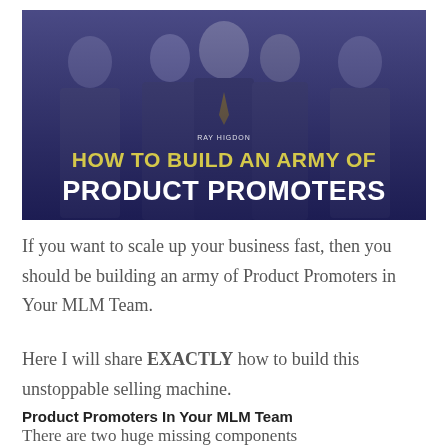[Figure (photo): Banner image showing four business professionals in dark suits smiling, with a dark blue overlay. Text overlay reads 'Ray Higdon: HOW TO BUILD AN ARMY OF PRODUCT PROMOTERS' with 'HOW TO BUILD AN ARMY OF' in yellow/gold bold text and 'PRODUCT PROMOTERS' in large white bold text.]
If you want to scale up your business fast, then you should be building an army of Product Promoters in Your MLM Team.
Here I will share EXACTLY how to build this unstoppable selling machine.
Product Promoters In Your MLM Team
There are two huge missing components